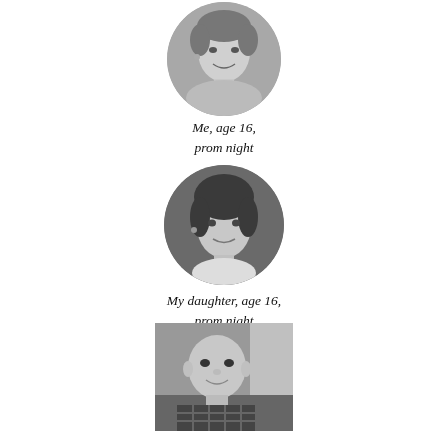[Figure (photo): Circular black-and-white portrait photo of a young woman at age 16 on prom night]
Me, age 16,
prom night
[Figure (photo): Circular black-and-white portrait photo of a young woman, described as daughter at age 16 on prom night]
My daughter, age 16,
prom night
[Figure (photo): Rectangular black-and-white photo of a baby/toddler described as The Overlord, a bridge to his future daughter]
The Overlord,
a bridge to his
future daughter